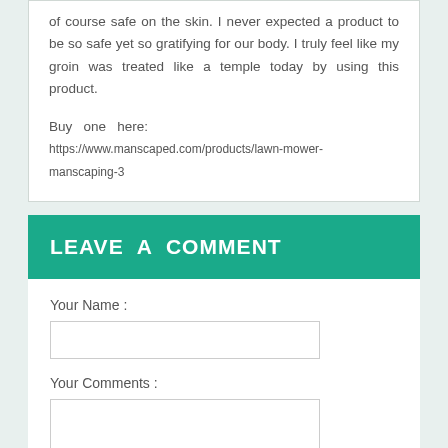of course safe on the skin. I never expected a product to be so safe yet so gratifying for our body. I truly feel like my groin was treated like a temple today by using this product.
Buy one here:   https://www.manscaped.com/products/lawn-mower-manscaping-3
LEAVE A COMMENT
Your Name :
Your Comments :